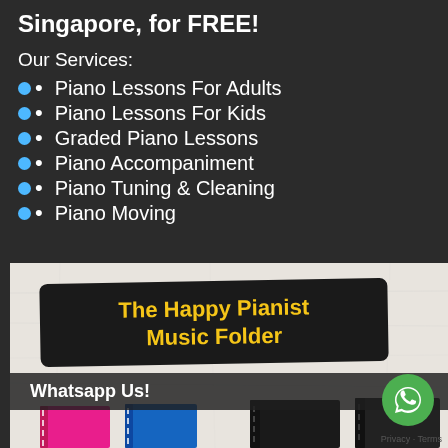Singapore, for FREE!
Our Services:
Piano Lessons For Adults
Piano Lessons For Kids
Graded Piano Lessons
Piano Accompaniment
Piano Tuning & Cleaning
Piano Moving
[Figure (photo): Photo of music folders/notebooks with brushstroke banner text 'The Happy Pianist Music Folder' and a WhatsApp button overlay saying 'Whatsapp Us!']